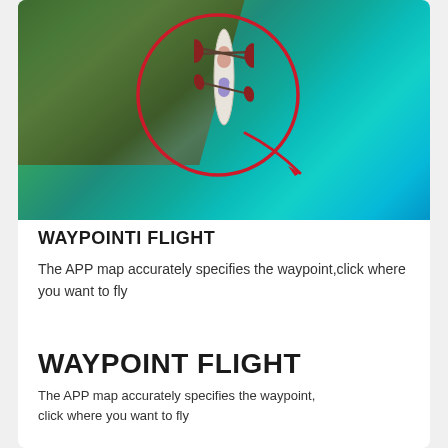[Figure (photo): Aerial/drone view of two people in a transparent kayak over clear turquoise water with visible rocks beneath, overlaid with a red circle and arrow annotation pointing to something in the water]
WAYPOINTI FLIGHT
The APP map accurately specifies the waypoint,click where you want to fly
WAYPOINT FLIGHT
The APP map accurately specifies the waypoint, click where you want to fly